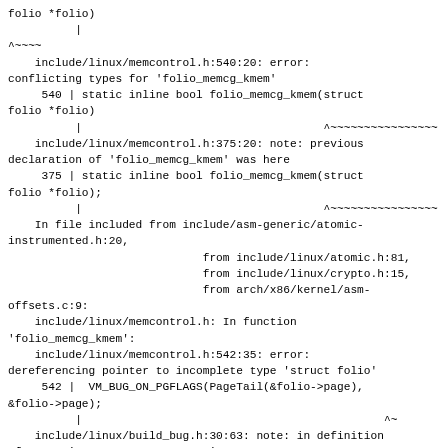folio *folio)
          |
^~~~~
    include/linux/memcontrol.h:540:20: error:
conflicting types for 'folio_memcg_kmem'
     540 | static inline bool folio_memcg_kmem(struct
folio *folio)
          |                                    ^~~~~~~~~~~~~~~~~
    include/linux/memcontrol.h:375:20: note: previous
declaration of 'folio_memcg_kmem' was here
     375 | static inline bool folio_memcg_kmem(struct
folio *folio);
          |                                    ^~~~~~~~~~~~~~~~~
    In file included from include/asm-generic/atomic-
instrumented.h:20,
                             from include/linux/atomic.h:81,
                             from include/linux/crypto.h:15,
                             from arch/x86/kernel/asm-
offsets.c:9:
    include/linux/memcontrol.h: In function
'folio_memcg_kmem':
    include/linux/memcontrol.h:542:35: error:
dereferencing pointer to incomplete type 'struct folio'
     542 |  VM_BUG_ON_PGFLAGS(PageTail(&folio->page),
&folio->page);
          |                                             ^~
    include/linux/build_bug.h:30:63: note: in definition
of macro 'BUILD_BUG_ON_INVALID'
      30 | #define BUILD_BUG_ON_INVALID(e) ((void)
(sizeof((__force long)(e))))